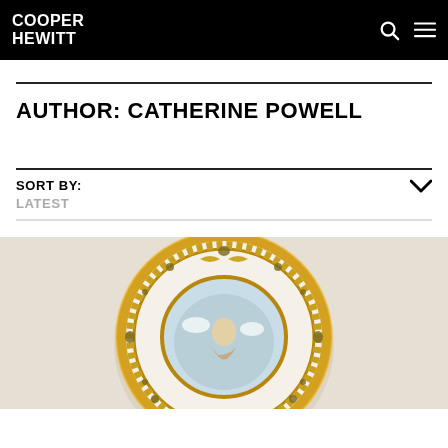COOPER HEWITT
AUTHOR: CATHERINE POWELL
SORT BY:
LATEST
[Figure (photo): Decorative ceramic plate with ornate golden border, scroll and floral motifs, and a central painted scene featuring a figure, on a light beige background.]